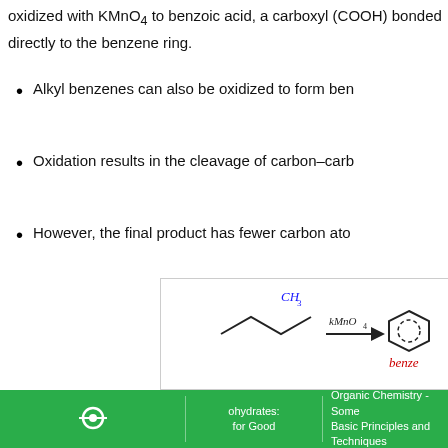oxidized with KMnO₄ to benzoic acid, a carboxyl (COOH) bonded directly to the benzene ring.
Alkyl benzenes can also be oxidized to form ben…
Oxidation results in the cleavage of carbon–carb…
However, the final product has fewer carbon ato…
[Figure (engineering-diagram): Chemical reaction diagram showing a substituted benzene with CH3 group being oxidized with KMnO4 to form benzene (labelled 'benze...') with an arrow indicating the reaction]
[Figure (infographic): Social media share buttons overlay: Facebook (blue), WhatsApp (green), Twitter (blue), Pinterest (red), Telegram (blue), Link/copy (grey)]
ohydrates: for Good | [image] | Organic Chemistry - Some Basic Principles and Techniques